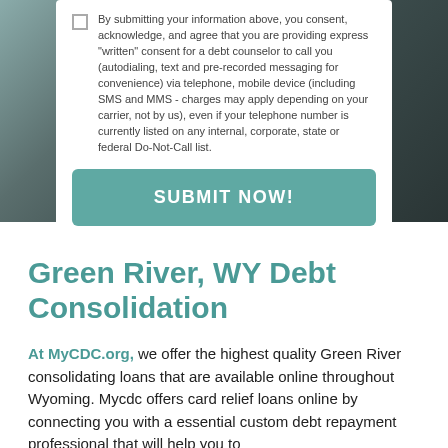[Figure (photo): Background photo of people in a car, with a white form card overlaid on top]
By submitting your information above, you consent, acknowledge, and agree that you are providing express "written" consent for a debt counselor to call you (autodialing, text and pre-recorded messaging for convenience) via telephone, mobile device (including SMS and MMS - charges may apply depending on your carrier, not by us), even if your telephone number is currently listed on any internal, corporate, state or federal Do-Not-Call list.
SUBMIT NOW!
Green River, WY Debt Consolidation
At MyCDC.org, we offer the highest quality Green River consolidating loans that are available online throughout Wyoming. Mycdc offers card relief loans online by connecting you with a essential custom debt repayment professional that will help you to